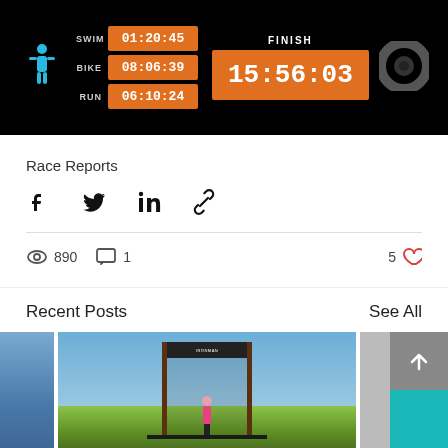[Figure (screenshot): Ironman triathlon timing display showing SWIM 01:20:45, BIKE 08:06:39, RUN 06:10:24, FINISH 15:56:03 on black background with orange time boxes]
Race Reports
[Figure (infographic): Social share icons: Facebook, Twitter, LinkedIn, Link]
890 views, 1 comment, 5 likes
Recent Posts
See All
[Figure (photo): Triathlon finisher crossing the finish line at an outdoor race event with spectators and banners]